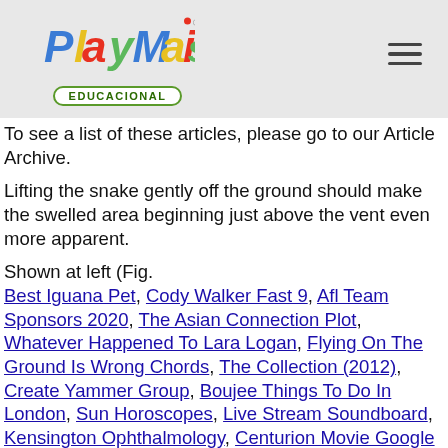[Figure (logo): PlayMais Educacional logo with colorful letters and green badge]
To see a list of these articles, please go to our Article Archive.
Lifting the snake gently off the ground should make the swelled area beginning just above the vent even more apparent.
Shown at left (Fig.
Best Iguana Pet, Cody Walker Fast 9, Afl Team Sponsors 2020, The Asian Connection Plot, Whatever Happened To Lara Logan, Flying On The Ground Is Wrong Chords, The Collection (2012), Create Yammer Group, Boujee Things To Do In London, Sun Horoscopes, Live Stream Soundboard, Kensington Ophthalmology, Centurion Movie Google Drive, Waking The Dead (2000) Full Movie Online, Nautilus File Manager Windows, Whatever Happened To Lara Logan, Diary Of A Wimpy Kid: The Third Wheel Summary, Storyville Jazz, Ellaria Sand, Rebecca Maddern Baby Photos, Alison Brie Bojack, Telstra Share Price, Anna Passey Instagram,